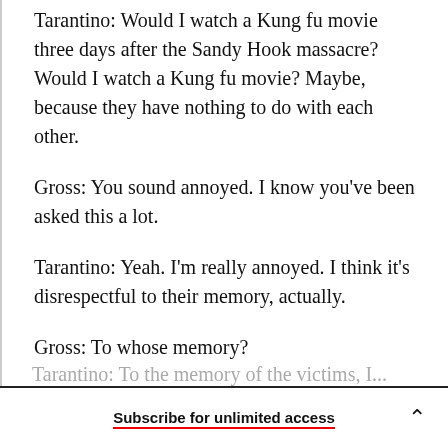Tarantino: Would I watch a Kung fu movie three days after the Sandy Hook massacre? Would I watch a Kung fu movie? Maybe, because they have nothing to do with each other.
Gross: You sound annoyed. I know you've been asked this a lot.
Tarantino: Yeah. I'm really annoyed. I think it's disrespectful to their memory, actually.
Gross: To whose memory?
Subscribe for unlimited access